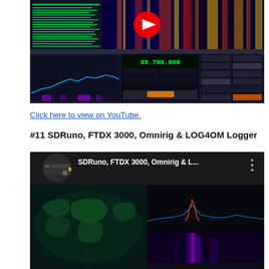[Figure (screenshot): YouTube video thumbnail showing SDRuno software with waterfall spectrum display and radio control interface. A red YouTube play button is visible in the upper center.]
Click here to view on YouTube.
#11 SDRuno, FTDX 3000, Omnirig & LOG4OM Logger
[Figure (screenshot): YouTube video thumbnail showing 'SDRuno, FTDX 3000, Omnirig & L...' with a hardware device image on the left, a world map display in the lower left, and an SDR spectrum analyzer in the lower right.]